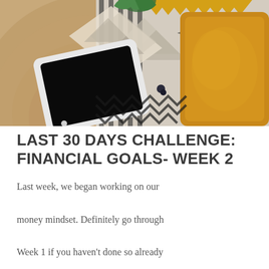[Figure (photo): Overhead/flat-lay photo of a wooden table with a tablet (black screen), a geometric black-and-white patterned blanket or rug, yellow/golden cushion pillows, and a green plant in the background.]
LAST 30 DAYS CHALLENGE: FINANCIAL GOALS- WEEK 2
Last week, we began working on our money mindset. Definitely go through Week 1 if you haven't done so already